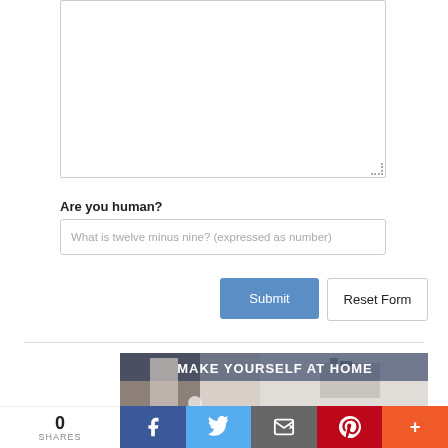[textarea input field]
Are you human?
What is twelve minus nine? (expressed as number)
Submit
Reset Form
[Figure (photo): Banner advertisement showing an adult walking with a toddler indoors. Text overlay: 'MAKE YOURSELF AT HOME' and 'Arundel Federal Savings Bank Mortgage Loan']
0 SHARES
Facebook share button
Twitter share button
Email share button
Pinterest share button
More share button